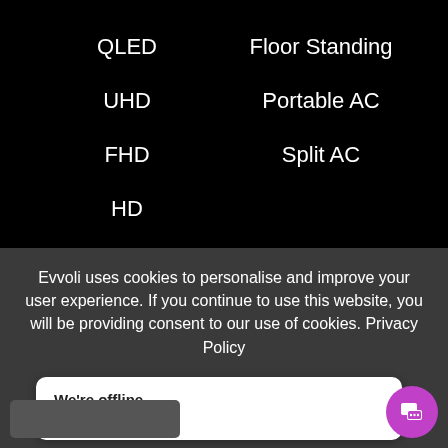QLED
Floor Standing
UHD
Portable AC
FHD
Split AC
HD
Home Appliances
Washing Machines
Evvoli uses cookies to personalise and improve your user experience. If you continue to use this website, you will be providing consent to our use of cookies. Privacy Policy
We're offline
Leave a message